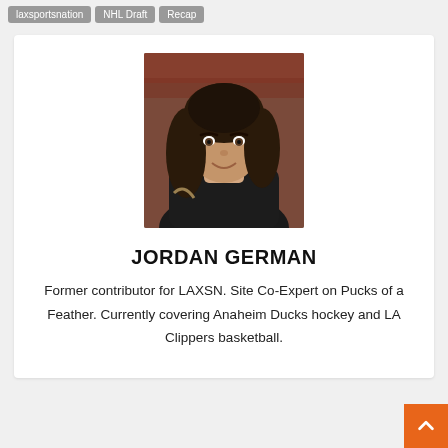laxsportsnation | NHL Draft | Recap
[Figure (photo): Headshot photo of Jordan German, a person with long dark hair, seated in what appears to be an arena with red/brown seats visible in the background.]
JORDAN GERMAN
Former contributor for LAXSN. Site Co-Expert on Pucks of a Feather. Currently covering Anaheim Ducks hockey and LA Clippers basketball.